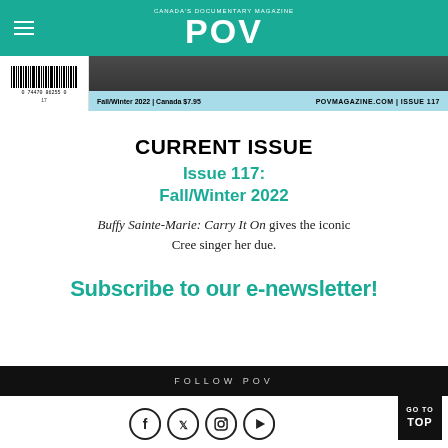CANADA'S DOCUMENTARY MAGAZINE — POV
[Figure (screenshot): Magazine cover strip showing barcode, Fall/Winter 2022 issue info bar, and dark cover image background]
CURRENT ISSUE
Issue 117:
Fall/Winter 2022
Buffy Sainte-Marie: Carry It On gives the iconic Cree singer her due.
Subscribe to our e-newsletter!
FOLLOW POV